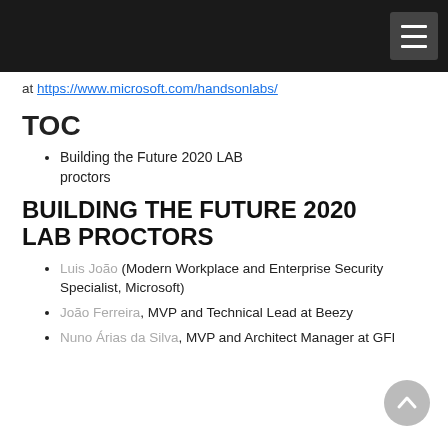Navigation bar with hamburger menu
at https://www.microsoft.com/handsonlabs/
TOC
Building the Future 2020 LAB proctors
BUILDING THE FUTURE 2020 LAB PROCTORS
Luis João (Modern Workplace and Enterprise Security Specialist, Microsoft)
João Ferreira, MVP and Technical Lead at Beezy
Nuno Árias da Silva, MVP and Architect Manager at GFI